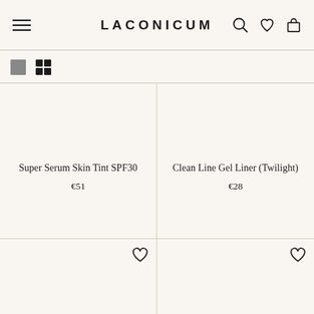LACONICUM
[Figure (screenshot): View toggle icons: single large square and 2x2 grid]
Super Serum Skin Tint SPF30
€51
Clean Line Gel Liner (Twilight)
€28
[Figure (photo): Two product thumbnail areas in the bottom row with heart/wishlist icons]